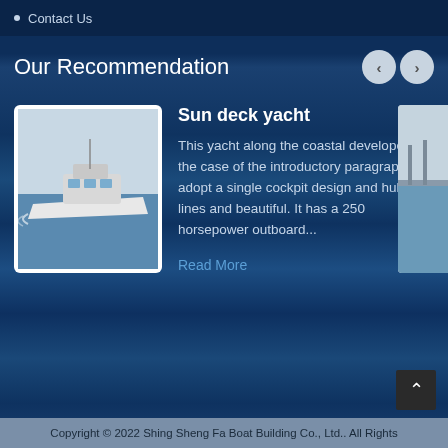Contact Us
Our Recommendation
[Figure (photo): White motorboat/sun deck yacht speeding on water, photographed from the side]
Sun deck yacht
This yacht along the coastal developed for the case of the introductory paragraph. It's adopt a single cockpit design and hull flow lines and beautiful. It has a 250 horsepower outboard...
Read More
[Figure (photo): Partial view of another boat/dock image on the right edge]
Copyright © 2022 Shing Sheng Fa Boat Building Co., Ltd.. All Rights